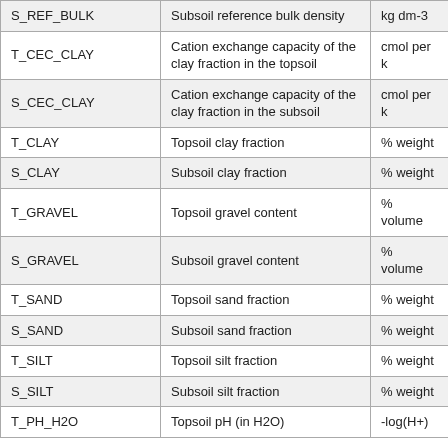| Variable | Description | Unit |
| --- | --- | --- |
| S_REF_BULK | Subsoil reference bulk density | kg dm-3 |
| T_CEC_CLAY | Cation exchange capacity of the clay fraction in the topsoil | cmol per k |
| S_CEC_CLAY | Cation exchange capacity of the clay fraction in the subsoil | cmol per k |
| T_CLAY | Topsoil clay fraction | % weight |
| S_CLAY | Subsoil clay fraction | % weight |
| T_GRAVEL | Topsoil gravel content | % volume |
| S_GRAVEL | Subsoil gravel content | % volume |
| T_SAND | Topsoil sand fraction | % weight |
| S_SAND | Subsoil sand fraction | % weight |
| T_SILT | Topsoil silt fraction | % weight |
| S_SILT | Subsoil silt fraction | % weight |
| T_PH_H2O | Topsoil pH (in H2O) | -log(H+) |